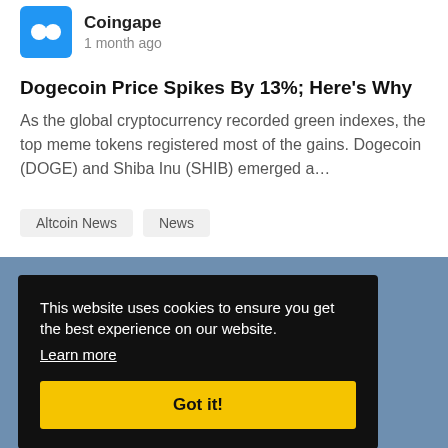Coingape
1 month ago
Dogecoin Price Spikes By 13%; Here's Why
As the global cryptocurrency recorded green indexes, the top meme tokens registered most of the gains. Dogecoin (DOGE) and Shiba Inu (SHIB) emerged a…
Altcoin News
News
This website uses cookies to ensure you get the best experience on our website.
Learn more
Got it!